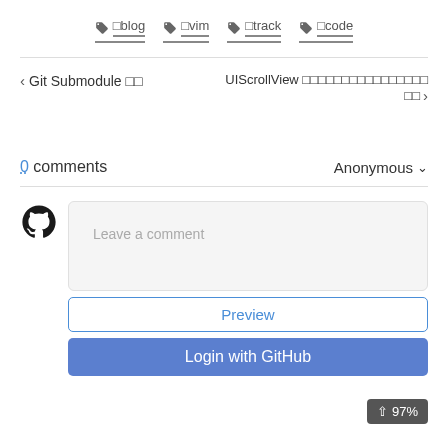🏷 blog   🏷 vim   🏷 track   🏷 code
< Git Submodule 이용
UIScrollView 기기별화면사이즈대응방법 >
0 comments
Anonymous ∨
Leave a comment
Preview
Login with GitHub
↑ 97%